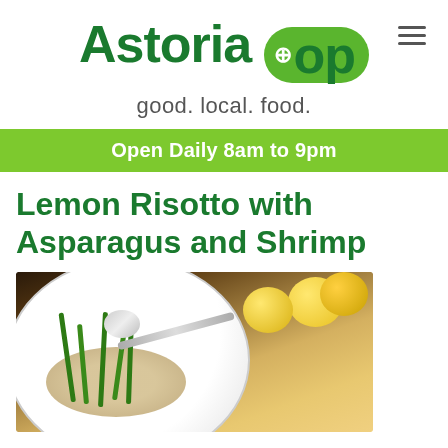[Figure (logo): Astoria Co+op logo with green text and green oval badge containing co+op wordmark]
good. local. food.
Open Daily 8am to 9pm
Lemon Risotto with Asparagus and Shrimp
[Figure (photo): Photo of lemon risotto with asparagus and shrimp in a white bowl, with lemons in the background]